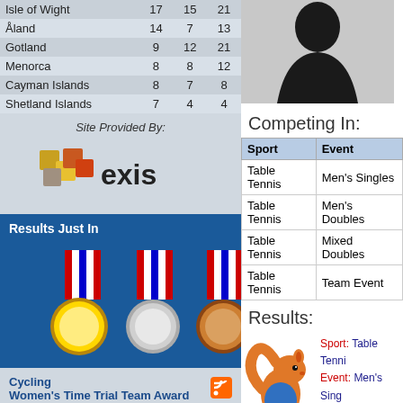|  |  |  |  |
| --- | --- | --- | --- |
| Isle of Wight | 17 | 15 | 21 |
| Åland | 14 | 7 | 13 |
| Gotland | 9 | 12 | 21 |
| Menorca | 8 | 8 | 12 |
| Cayman Islands | 8 | 7 | 8 |
| Shetland Islands | 7 | 4 | 4 |
Site Provided By:
[Figure (logo): Exis logo with colorful blocks and text 'exis']
Results Just In
[Figure (illustration): Gold, silver, and bronze medals on red-white-blue ribbons]
Cycling
Women's Time Trial Team Award Final
Wed 20 Jul - 03:35.05
Football
Men's Football Medal Matches
Fri 01 Jul - 06:47.22
Basketball
Women's Basketball Medal Matches
[Figure (photo): Silhouette of a person (athlete) on light gray background]
Competing In:
| Sport | Event |
| --- | --- |
| Table Tennis | Men's Singles |
| Table Tennis | Men's Doubles |
| Table Tennis | Mixed Doubles |
| Table Tennis | Team Event |
Results:
[Figure (illustration): Squirrel mascot with 2011 logo]
Sport: Table Tennis
Event: Men's Singles
Heat: Group Stage